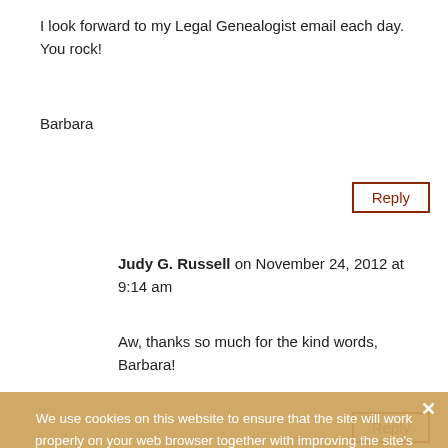I look forward to my Legal Genealogist email each day. You rock!
Barbara
Judy G. Russell on November 24, 2012 at 9:14 am
Aw, thanks so much for the kind words, Barbara!
We use cookies on this website to ensure that the site will work properly on your web browser together with improving the site's performance. If you click "Yes, I agree," you are agreeing to our use of cookies.
Its my understanding that if we didn't give FB the right to use the content we uploaded,